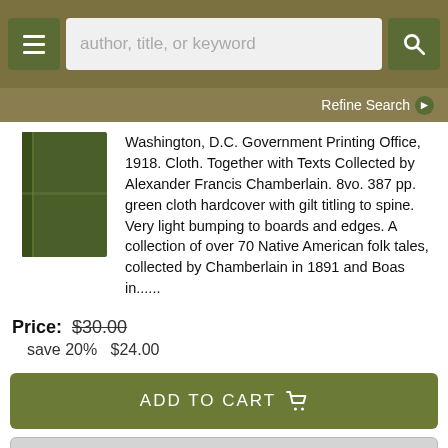author, title, or keyword
Refine Search
[Figure (photo): Green cloth hardcover book]
Washington, D.C. Government Printing Office, 1918. Cloth. Together with Texts Collected by Alexander Francis Chamberlain. 8vo. 387 pp. green cloth hardcover with gilt titling to spine. Very light bumping to boards and edges. A collection of over 70 Native American folk tales, collected by Chamberlain in 1891 and Boas in......
Price: $30.00
save 20%   $24.00
ADD TO CART
ITEM DETAILS